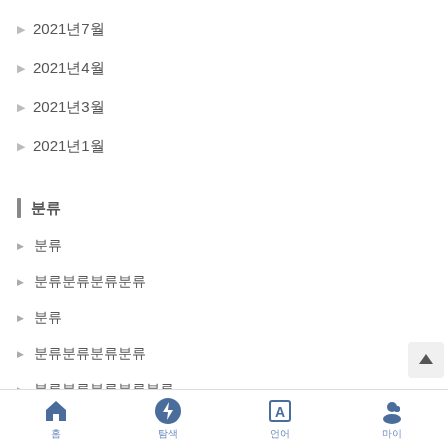▶ 2021년7월
▶ 2021년4월
▶ 2021년3월
▶ 2021년1월
| 분류
▶ 분류
▶ 분류분류분류분류
▶ 분류
▶ 분류분류분류분류
▶ 분류분류분류분류분류
홈  탐색  언어  마이